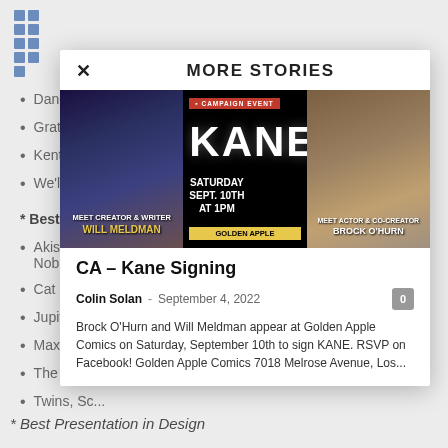[Figure (screenshot): 3x3 blue grid icon in top left corner]
Dancing A...
Grateful D...
Kent Stat...
We'll Soc...
* Best Kids Con...
Akissi: Ev... Nobrow Pre...
Cat Kid C...
Jupiter Je...
Max Meo...
The Perh...
Twins, Sc...
* Best Presentation in Design
[Figure (screenshot): Modal overlay showing MORE STORIES panel with three promotional images for Kane comic signing event at Golden Apple Comics]
CA – Kane Signing
Colin Solan - September 4, 2022
Brock O'Hurn and Will Meldman appear at Golden Apple Comics on Saturday, September 10th to sign KANE. RSVP on Facebook! Golden Apple Comics 7018 Melrose Avenue, Los...